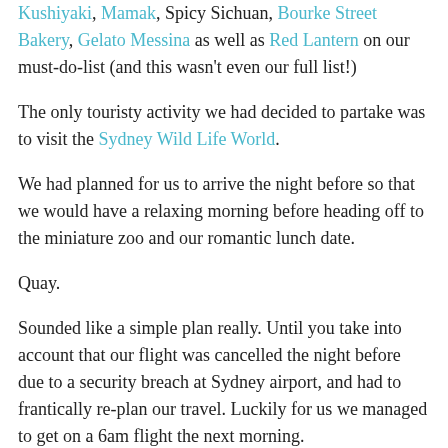Kushiyaki, Mamak, Spicy Sichuan, Bourke Street Bakery, Gelato Messina as well as Red Lantern on our must-do-list (and this wasn't even our full list!)
The only touristy activity we had decided to partake was to visit the Sydney Wild Life World.
We had planned for us to arrive the night before so that we would have a relaxing morning before heading off to the miniature zoo and our romantic lunch date.
Quay.
Sounded like a simple plan really. Until you take into account that our flight was cancelled the night before due to a security breach at Sydney airport, and had to frantically re-plan our travel. Luckily for us we managed to get on a 6am flight the next morning.
Determined to go through with our original plan of visiting the Wild Life World, we were cutting it pretty